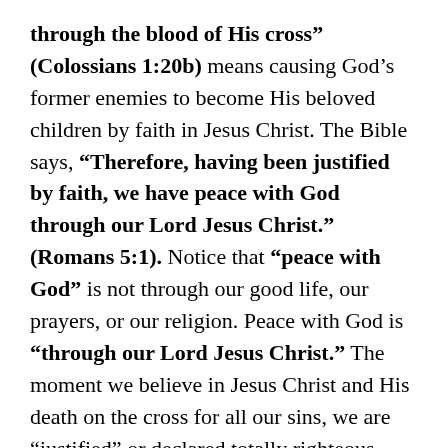through the blood of His cross" (Colossians 1:20b) means causing God’s former enemies to become His beloved children by faith in Jesus Christ. The Bible says, “Therefore, having been justified by faith, we have peace with God through our Lord Jesus Christ.” (Romans 5:1). Notice that “peace with God” is not through our good life, our prayers, or our religion. Peace with God is “through our Lord Jesus Christ.” The moment we believe in Jesus Christ and His death on the cross for all our sins, we are “justified” or declared totally righteous before God as if we had never sinned.
To be justified before God means to be declared the opposite of what we are. If I was